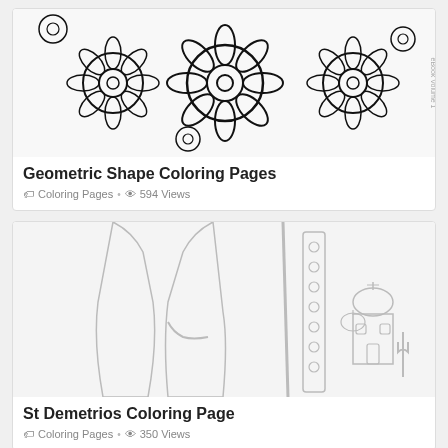[Figure (illustration): Geometric floral/mandala coloring page with circular flower patterns and petal designs in black and white outline style]
Geometric Shape Coloring Pages
Coloring Pages · 594 Views
[Figure (illustration): St Demetrios coloring page showing a religious figure in robes holding a staff with an Orthodox church building in the background, black and white outline style]
St Demetrios Coloring Page
Coloring Pages · 350 Views